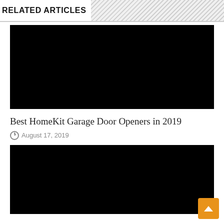RELATED ARTICLES
[Figure (photo): Black image placeholder for article thumbnail 1]
Best HomeKit Garage Door Openers in 2019
August 17, 2019
[Figure (photo): Black image placeholder for article thumbnail 2]